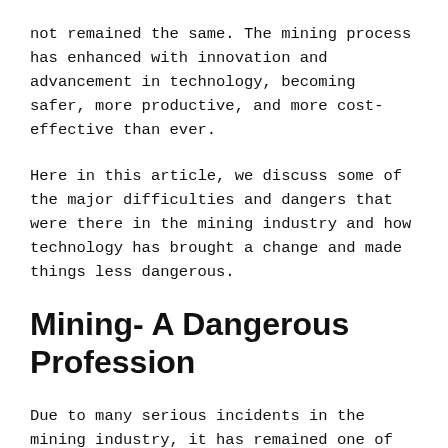not remained the same. The mining process has enhanced with innovation and advancement in technology, becoming safer, more productive, and more cost-effective than ever.
Here in this article, we discuss some of the major difficulties and dangers that were there in the mining industry and how technology has brought a change and made things less dangerous.
Mining- A Dangerous Profession
Due to many serious incidents in the mining industry, it has remained one of the most dangerous professions. Some of the dangers that miners face